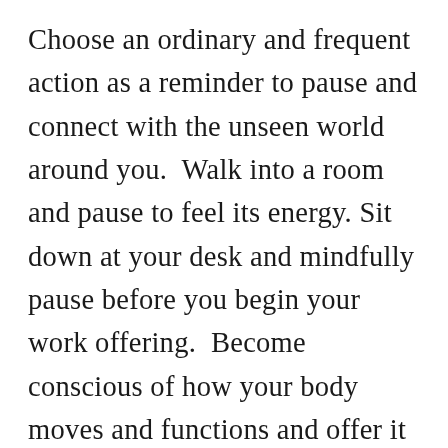Choose an ordinary and frequent action as a reminder to pause and connect with the unseen world around you.  Walk into a room and pause to feel its energy. Sit down at your desk and mindfully pause before you begin your work offering.  Become conscious of how your body moves and functions and offer it gratitude for its service. Use an often-repeated action as a reminder for you to move into mindful awareness. Pause to breathe, still yourself, and experience the energy around you. Let that mindful action serve as a pulse point, a moment to check in with your inner